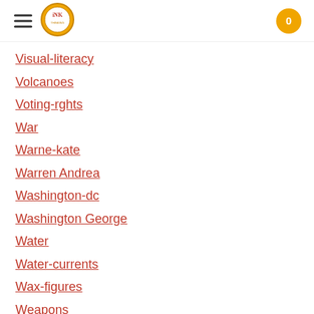INK logo, hamburger menu, cart (0)
Visual-literacy
Volcanoes
Voting-rghts
War
Warne-kate
Warren Andrea
Washington-dc
Washington George
Water
Water-currents
Wax-figures
Weapons
Weather
Weatherford Carole Boston
Whiting Jim